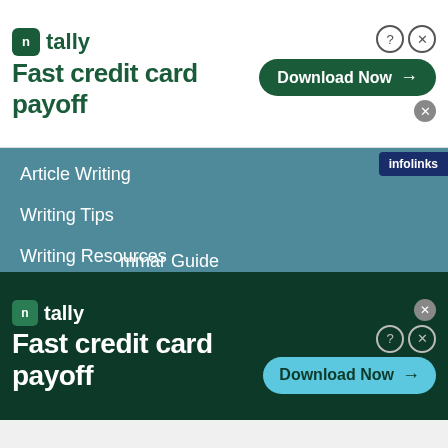[Figure (screenshot): Top advertisement banner for Tally app - Fast credit card payoff with Download Now button]
Article Writing
Writing Tips
Writing Resources
Affiliates & Referral Disclaimer
21st Century Publishing
Plagiarism & Copyrights
Grammar Guide
[Figure (screenshot): Bottom advertisement banner for Tally app - Fast credit card payoff with Download Now button on dark green background]